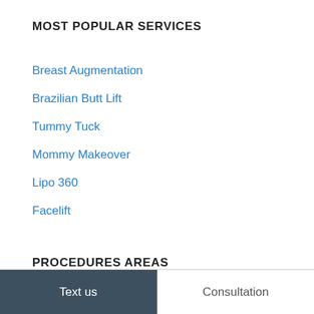MOST POPULAR SERVICES
Breast Augmentation
Brazilian Butt Lift
Tummy Tuck
Mommy Makeover
Lipo 360
Facelift
PROCEDURES AREAS
Text us | Consultation